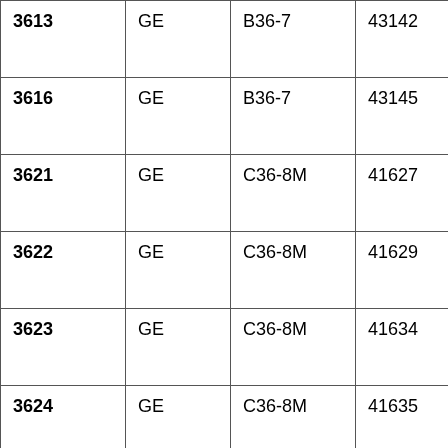| 3613 | GE | B36-7 | 43142 |  | 11/198 |
| 3616 | GE | B36-7 | 43145 |  | 11/198 |
| 3621 | GE | C36-8M | 41627 |  | 11/197 |
| 3622 | GE | C36-8M | 41629 |  | 11/197 |
| 3623 | GE | C36-8M | 41634 |  | 11/197 |
| 3624 | GE | C36-8M | 41635 |  | 11/197 |
| 3625 | GE | C36-8M | 41633 |  | 11/197 |